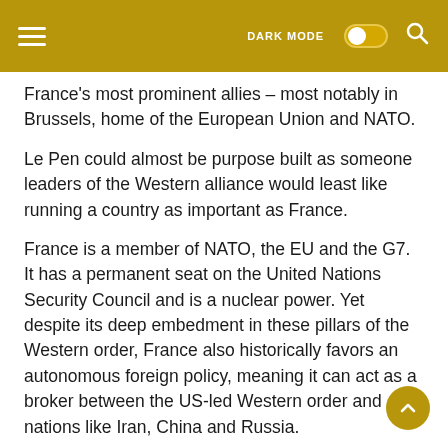DARK MODE [toggle] [search icon]
France's most prominent allies – most notably in Brussels, home of the European Union and NATO.
Le Pen could almost be purpose built as someone leaders of the Western alliance would least like running a country as important as France.
France is a member of NATO, the EU and the G7. It has a permanent seat on the United Nations Security Council and is a nuclear power. Yet despite its deep embedment in these pillars of the Western order, France also historically favors an autonomous foreign policy, meaning it can act as a broker between the US-led Western order and nations like Iran, China and Russia.
Le Pen's previous ties to Russia, unenthusiastic views of NATO and hostile view of the EU meant that her victory would have rattled cages around the world.